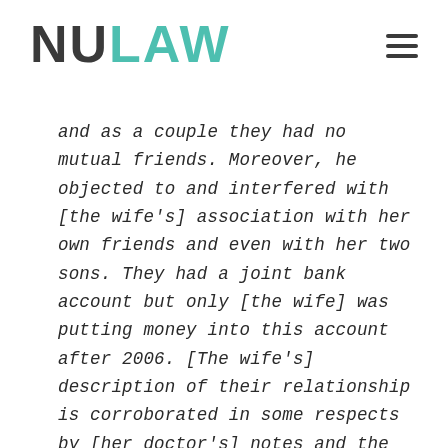NULAW
and as a couple they had no mutual friends. Moreover, he objected to and interfered with [the wife's] association with her own friends and even with her two sons. They had a joint bank account but only [the wife] was putting money into this account after 2006. [The wife's] description of their relationship is corroborated in some respects by [her doctor's] notes and the records of the police interventions."